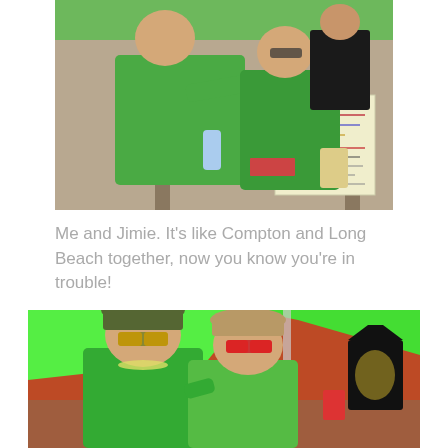[Figure (photo): Two people wearing green t-shirts standing under a green tent/canopy at an outdoor event, pointing at a sign on a table with cups and items on it. Brick building visible in background.]
Me and Jimie. It's like Compton and Long Beach together, now you know you're in trouble!
[Figure (photo): Two people wearing green shirts and sunglasses smiling together under a bright green canopy/tent at an outdoor event. A black t-shirt with a graphic is visible hanging in the background.]